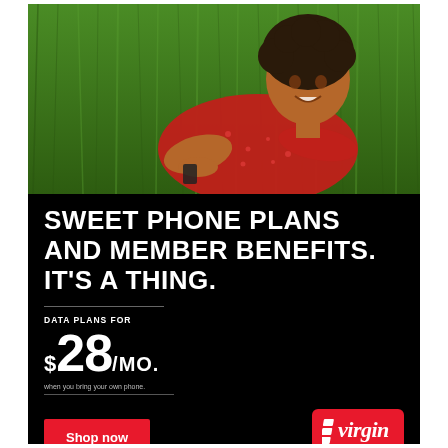[Figure (photo): Young woman with curly hair wearing a red polka-dot dress, lying on green grass, smiling and holding a smartphone]
SWEET PHONE PLANS AND MEMBER BENEFITS. IT'S A THING.
DATA PLANS FOR $28/MO.
when you bring your own phone.
Shop now
[Figure (logo): Virgin Plus logo — red rounded rectangle with white italic 'virgin' script and 'plus' text below]
Save the $50 connection fee when you shop online.